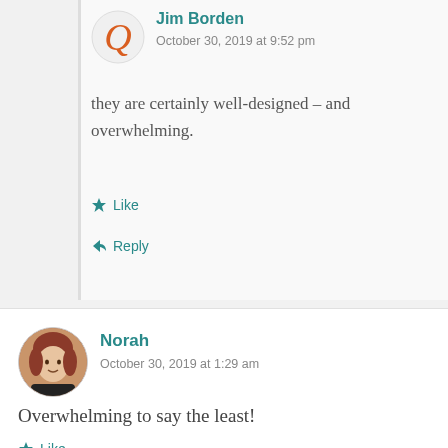Jim Borden
October 30, 2019 at 9:52 pm
they are certainly well-designed – and overwhelming.
Like
Reply
Norah
October 30, 2019 at 1:29 am
Overwhelming to say the least!
Like